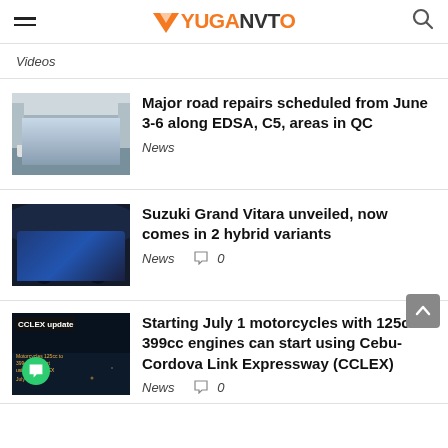YUGAAVTO
Videos
Major road repairs scheduled from June 3-6 along EDSA, C5, areas in QC
News
[Figure (photo): Thumbnail image of road/highway scene]
Suzuki Grand Vitara unveiled, now comes in 2 hybrid variants
News  0
[Figure (photo): Thumbnail image of blue Suzuki Grand Vitara SUV on dark background]
[Figure (photo): Thumbnail image with CCLEX update text overlay on dark background]
Starting July 1 motorcycles with 125cc-399cc engines can start using Cebu-Cordova Link Expressway (CCLEX)
News  0